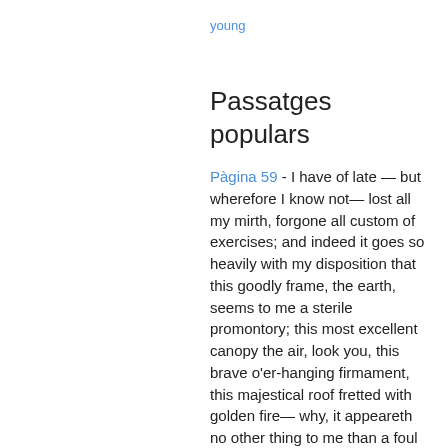young
Passatges populars
Pàgina 59 - I have of late — but wherefore I know not— lost all my mirth, forgone all custom of exercises; and indeed it goes so heavily with my disposition that this goodly frame, the earth, seems to me a sterile promontory; this most excellent canopy the air, look you, this brave o'er-hanging firmament, this majestical roof fretted with golden fire— why, it appeareth no other thing to me than a foul and